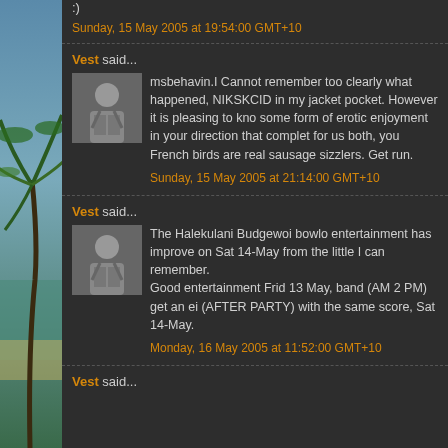:)
Sunday, 15 May 2005 at 19:54:00 GMT+10
Vest said...
msbehavin.I Cannot remember too clearly what happened, NIKSKCID in my jacket pocket. However it is pleasing to know some form of erotic enjoyment in your direction that complet for us both, you French birds are real sausage sizzlers. Get run.
Sunday, 15 May 2005 at 21:14:00 GMT+10
Vest said...
The Halekulani Budgewoi bowlo entertainment has improved on Sat 14-May from the little I can remember. Good entertainment Frid 13 May, band (AM 2 PM) get an ei (AFTER PARTY) with the same score, Sat 14-May.
Monday, 16 May 2005 at 11:52:00 GMT+10
Vest said...